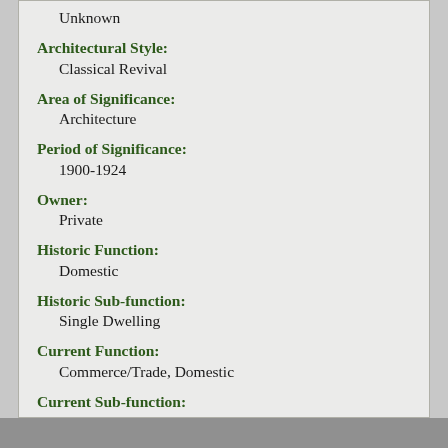Unknown
Architectural Style:
Classical Revival
Area of Significance:
Architecture
Period of Significance:
1900-1924
Owner:
Private
Historic Function:
Domestic
Historic Sub-function:
Single Dwelling
Current Function:
Commerce/Trade, Domestic
Current Sub-function:
Business, Multiple Dwelling